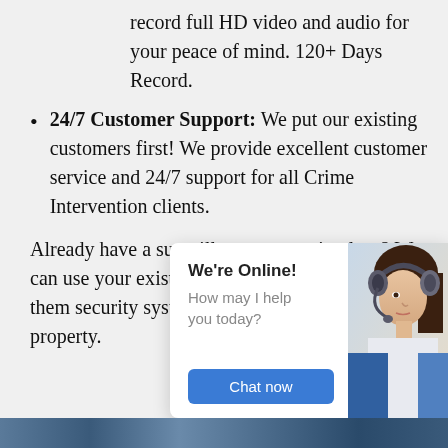record full HD video and audio for your peace of mind. 120+ Days Record.
24/7 Customer Support: We put our existing customers first! We provide excellent customer service and 24/7 support for all Crime Intervention clients.
Already have a surveillance system in place? We can use your e[xisting cameras] and incorporate th[em into your new] security system, a[llowing you to make the] most of your inve[stment and protect your] property.
[Figure (photo): Chat widget overlay showing a customer support representative wearing a headset. Widget shows 'We're Online!' heading, 'How may I help you today?' text, and a 'Chat now' button in blue.]
[Figure (photo): Bottom strip showing a partial image, appears to be related to security or surveillance content.]